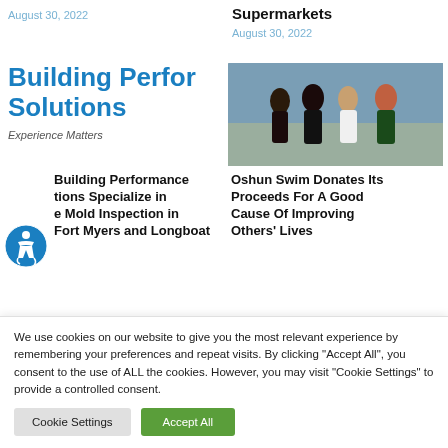August 30, 2022
Supermarkets
August 30, 2022
Building Performance Solutions
Experience Matters
[Figure (photo): Four women in swimwear posing on a beach]
Building Performance tions Specialize in e Mold Inspection in Fort Myers and Longboat
Oshun Swim Donates Its Proceeds For A Good Cause Of Improving Others' Lives
We use cookies on our website to give you the most relevant experience by remembering your preferences and repeat visits. By clicking "Accept All", you consent to the use of ALL the cookies. However, you may visit "Cookie Settings" to provide a controlled consent.